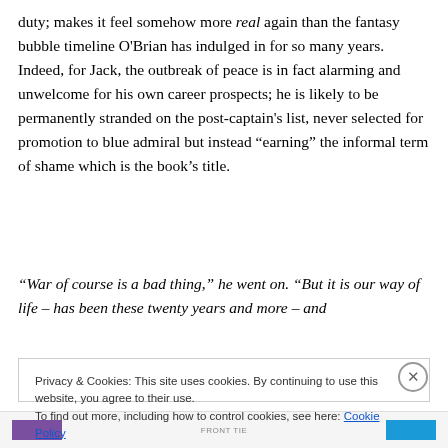duty; makes it feel somehow more real again than the fantasy bubble timeline O'Brian has indulged in for so many years. Indeed, for Jack, the outbreak of peace is in fact alarming and unwelcome for his own career prospects; he is likely to be permanently stranded on the post-captain's list, never selected for promotion to blue admiral but instead "earning" the informal term of shame which is the book's title.
“War of course is a bad thing,” he went on. “But it is our way of life – has been these twenty years and more – and
Privacy & Cookies: This site uses cookies. By continuing to use this website, you agree to their use.
To find out more, including how to control cookies, see here: Cookie Policy